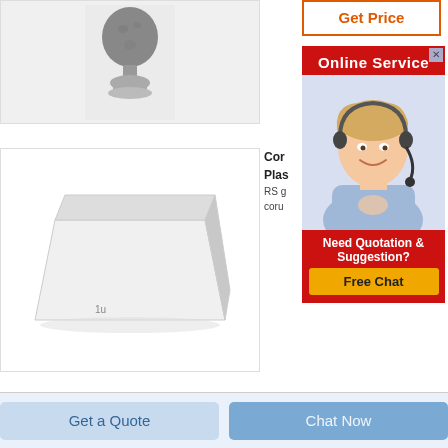[Figure (photo): Photo of a gray ceramic/stone ball-shaped finial or decorative piece on a pedestal base]
[Figure (photo): Photo of a white rectangular box (packaging or product)]
Get Price
[Figure (infographic): Online Service widget with red background, smiling female customer service agent wearing headset, 'Need Quotation & Suggestion? Free Chat' button]
Cor
Plas
RS g
coru
Get a Quote
Chat Now